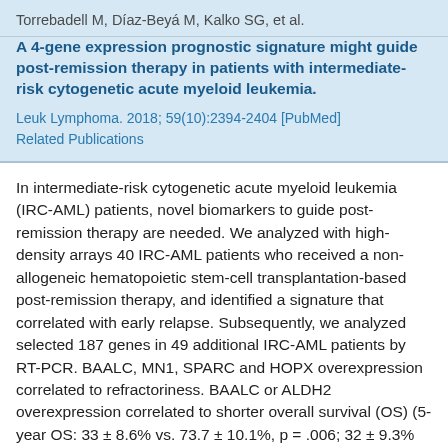Torrebadell M, Díaz-Beyá M, Kalko SG, et al.
A 4-gene expression prognostic signature might guide post-remission therapy in patients with intermediate-risk cytogenetic acute myeloid leukemia.
Leuk Lymphoma. 2018; 59(10):2394-2404 [PubMed]
Related Publications
In intermediate-risk cytogenetic acute myeloid leukemia (IRC-AML) patients, novel biomarkers to guide post-remission therapy are needed. We analyzed with high-density arrays 40 IRC-AML patients who received a non-allogeneic hematopoietic stem-cell transplantation-based post-remission therapy, and identified a signature that correlated with early relapse. Subsequently, we analyzed selected 187 genes in 49 additional IRC-AML patients by RT-PCR. BAALC, MN1, SPARC and HOPX overexpression correlated to refractoriness. BAALC or ALDH2 overexpression correlated to shorter overall survival (OS) (5-year OS: 33 ± 8.6% vs. 73.7 ± 10.1%, p = .006; 32 ± 9.3% vs. 66.4 ± 9.7%, p = .016), whereas GPR44 or TP53INP1 overexpression correlated to longer